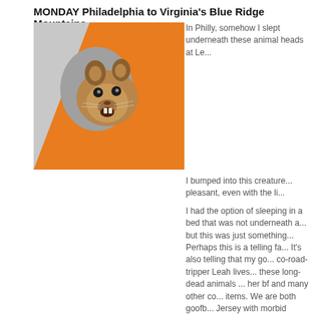MONDAY Philadelphia to Virginia's Blue Ridge Mountains
[Figure (photo): Taxidermy squirrel head mounted on an orange and grey wall, appearing to peek out of a hole.]
In Philly, somehow I slept underneath these animal heads at Le...
I bumped into this creature... pleasant, even with the li...
I had the option of sleeping in a bed that was not underneath a... but this was just something... Perhaps this is a telling fa... It's also telling that my go... co-road-tripper Leah lives... these long-dead animals ... her bf and many other co... items. We are both goofb... Jersey with morbid sense... and we're often mistaken... We've had many a ridicu...